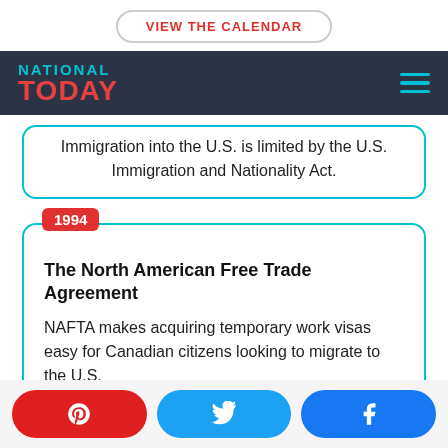VIEW THE CALENDAR
NATIONAL TODAY
Immigration into the U.S. is limited by the U.S. Immigration and Nationality Act.
1994
The North American Free Trade Agreement
NAFTA makes acquiring temporary work visas easy for Canadian citizens looking to migrate to the U.S.
Pinterest, Twitter, Facebook share buttons